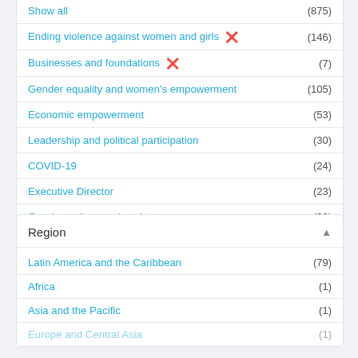Show all (875)
Ending violence against women and girls ✕ (146)
Businesses and foundations ✕ (7)
Gender equality and women's empowerment (105)
Economic empowerment (53)
Leadership and political participation (30)
COVID-19 (24)
Executive Director (23)
Gender, culture and society (23)
Domestic violence/interpersonal violence (21)
Show more
Region
Latin America and the Caribbean (79)
Africa (1)
Asia and the Pacific (1)
Europe and Central Asia (1)